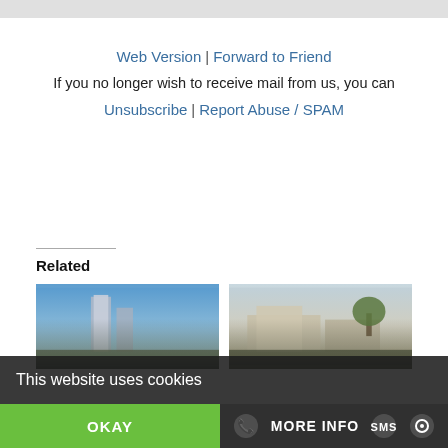Web Version | Forward to Friend
If you no longer wish to receive mail from us, you can
Unsubscribe | Report Abuse / SPAM
Related
[Figure (photo): Modern tall residential towers against blue sky]
[Figure (photo): Contemporary low-rise building with trees]
This website uses cookies
OKAY
MORE INFO